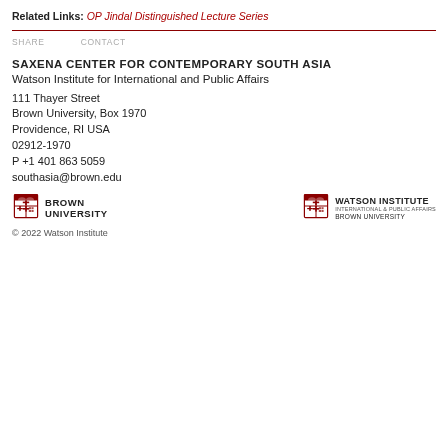Related Links: OP Jindal Distinguished Lecture Series
SHARE   CONTACT
SAXENA CENTER FOR CONTEMPORARY SOUTH ASIA
Watson Institute for International and Public Affairs
111 Thayer Street
Brown University, Box 1970
Providence, RI USA
02912-1970
P +1 401 863 5059
southasia@brown.edu
[Figure (logo): Brown University shield logo with text BROWN UNIVERSITY]
[Figure (logo): Watson Institute International & Public Affairs Brown University shield logo]
© 2022 Watson Institute